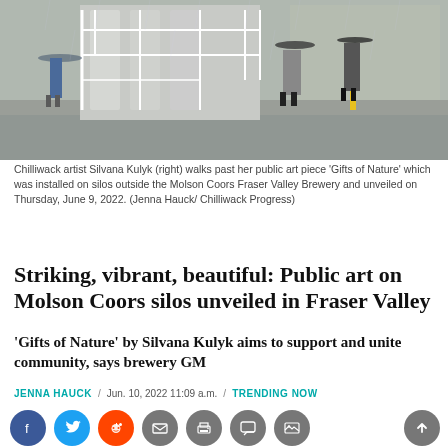[Figure (photo): People walking with umbrellas in rainy weather past large industrial silos with white metal framework at the Molson Coors Fraser Valley Brewery.]
Chilliwack artist Silvana Kulyk (right) walks past her public art piece 'Gifts of Nature' which was installed on silos outside the Molson Coors Fraser Valley Brewery and unveiled on Thursday, June 9, 2022. (Jenna Hauck/ Chilliwack Progress)
Striking, vibrant, beautiful: Public art on Molson Coors silos unveiled in Fraser Valley
‘Gifts of Nature’ by Silvana Kulyk aims to support and unite community, says brewery GM
JENNA HAUCK / Jun. 10, 2022 11:09 a.m. / TRENDING NOW